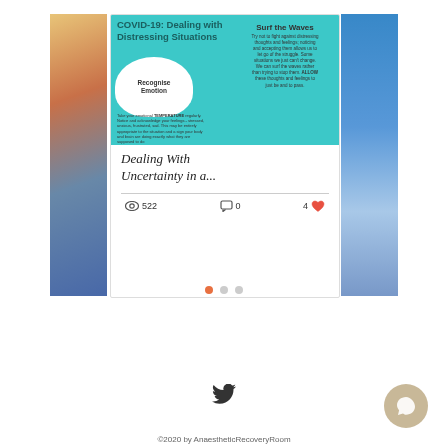[Figure (infographic): COVID-19: Dealing with Distressing Situations infographic card showing teal header with 'Recognise Emotion' cloud bubble and 'Surf the Waves' section, displayed in a blog/website card layout with side images]
Dealing With Uncertainty in a...
522 views · 0 comments · 4 likes
©2020 by AnaestheticRecoveryRoom